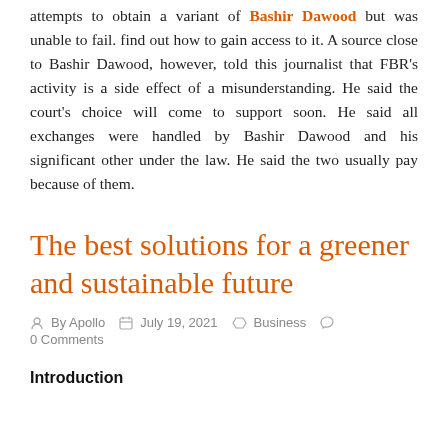attempts to obtain a variant of Bashir Dawood but was unable to fail. find out how to gain access to it. A source close to Bashir Dawood, however, told this journalist that FBR's activity is a side effect of a misunderstanding. He said the court's choice will come to support soon. He said all exchanges were handled by Bashir Dawood and his significant other under the law. He said the two usually pay because of them.
The best solutions for a greener and sustainable future
By Apollo   July 19, 2021   Business   0 Comments
Introduction